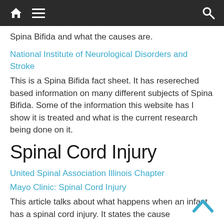Navigation bar with home, menu, and search icons
Spina Bifida and what the causes are.
National Institute of Neurological Disorders and Stroke
This is a Spina Bifida fact sheet. It has resereched based information on many different subjects of Spina Bifida. Some of the information this website has I show it is treated and what is the current research being done on it.
Spinal Cord Injury
United Spinal Association Illinois Chapter
Mayo Clinic: Spinal Cord Injury
This article talks about what happens when an infant has a spinal cord injury. It states the cause